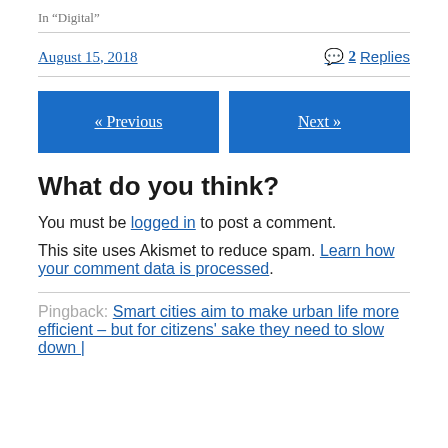In "Digital"
August 15, 2018
2 Replies
« Previous
Next »
What do you think?
You must be logged in to post a comment.
This site uses Akismet to reduce spam. Learn how your comment data is processed.
Pingback: Smart cities aim to make urban life more efficient – but for citizens' sake they need to slow down |